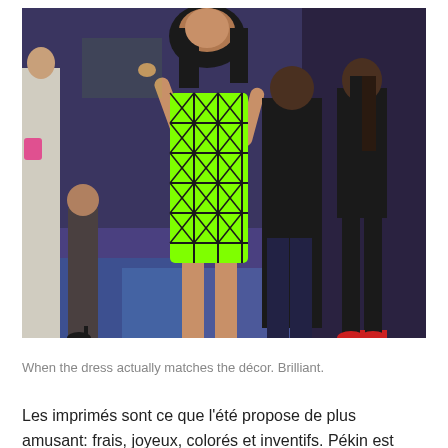[Figure (photo): A woman wearing a neon green geometric-patterned mini dress stands in a crowd at what appears to be a party or event. People in the background include a man in dark clothing, a woman in a black dress, and a woman with red heels. The décor features geometric patterns similar to the woman's dress.]
When the dress actually matches the décor. Brilliant.
Les imprimés sont ce que l'été propose de plus amusant: frais, joyeux, colorés et inventifs. Pékin est parsemé le soir